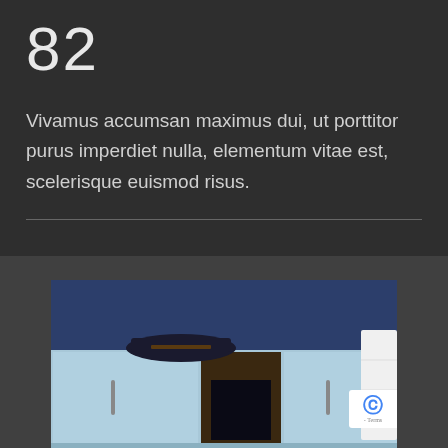82
Vivamus accumsan maximus dui, ut porttitor purus imperdiet nulla, elementum vitae est, scelerisque euismod risus.
[Figure (photo): Photo of a light blue cabinet/wardrobe with silver handles, dark clothing folded on top, a mirror or dark panel in the center, and a white towel on the right side, set against a navy blue wall background.]